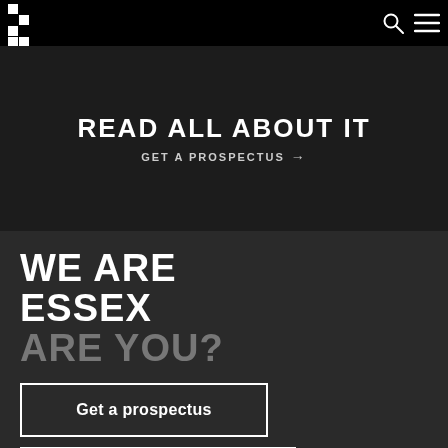University of Essex header with logo, search and menu icons
READ ALL ABOUT IT
GET A PROSPECTUS →
WE ARE ESSEX ARE YOU?
Get a prospectus
Get to know Essex